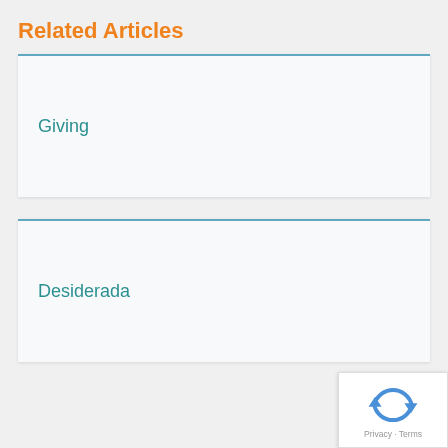Related Articles
Giving
Desiderada